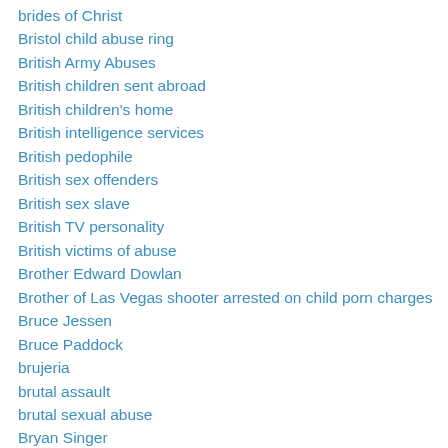brides of Christ
Bristol child abuse ring
British Army Abuses
British children sent abroad
British children's home
British intelligence services
British pedophile
British sex offenders
British sex slave
British TV personality
British victims of abuse
Brother Edward Dowlan
Brother of Las Vegas shooter arrested on child porn charges
Bruce Jessen
Bruce Paddock
brujeria
brutal assault
brutal sexual abuse
Bryan Singer
Buckingham Palace